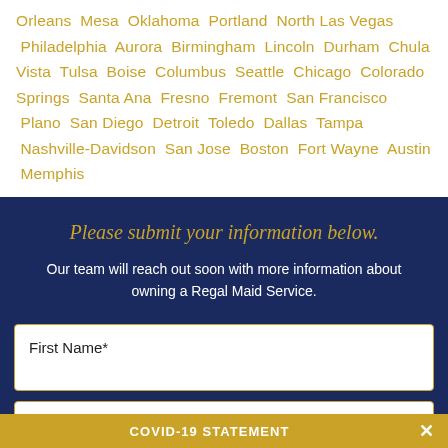Orleans Mesa Oklahoma Portland North Las Vegas Philadelphia Aurora Birmingham Lincoln Durham Chula Vista Tulsa Boise Columbus Seattle Chicago Colorado Springs Santa Ana Fresno Fremont San Francisco Plano San Diego Detroit Toledo Dallas Tampa Nashville-Davidson San Jose Boston Fort Wayne Austin Memphis
Please submit your information below.
Our team will reach out soon with more information about owning a Regal Maid Service.
First Name*
Last Name*
COVID-19 STATEMENT